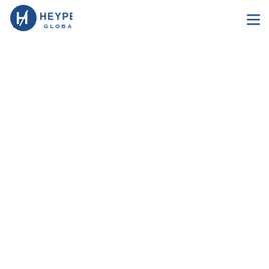[Figure (logo): Heypex Global logo: a blue circular chat bubble icon with the letter H and a diagonal line, next to the text HEYPEX in bold dark blue and GLOBAL in smaller dark blue below]
[Figure (other): Hamburger menu icon: three horizontal dark blue lines stacked vertically, positioned in the top right corner]